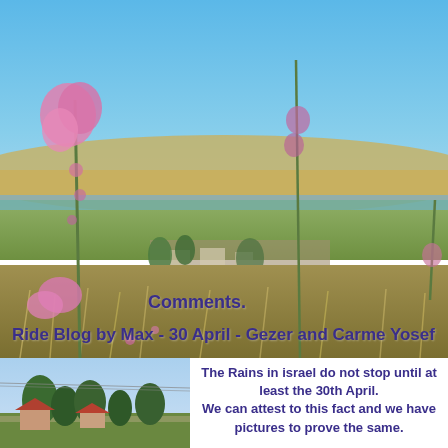[Figure (photo): Landscape photo from a hillside with tall pink hollyhock flowers in foreground, and a wide valley with agricultural fields, water features, and a town visible below under a blue sky.]
Comments.
Ride Blog by Max - 30 April - Gezer and Carme Yosef
[Figure (photo): Photo of a village or town scene with trees and red-roofed buildings.]
The Rains in israel do not stop until at least the 30th April. We can attest to this fact and we have pictures to prove the same.